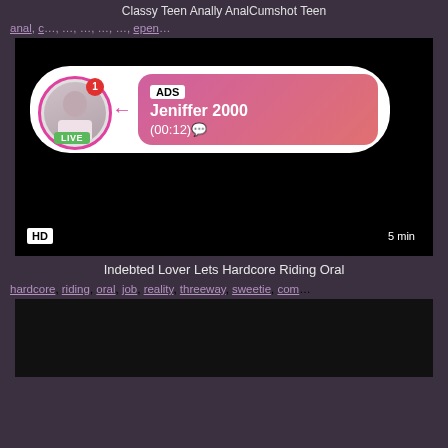Classy Teen Anally AnalCumshot Teen
anal, c..., ..., ..., ..., ..., epen...
[Figure (screenshot): Black video thumbnail with HD badge and 5 min duration. Ad overlay showing Jeniffer 2000 LIVE with pink gradient banner, (00:12) timer.]
Indebted Lover Lets Hardcore Riding Oral
hardcore, riding, oral, job, reality, threeway, sweetie, com...
[Figure (screenshot): Dark video thumbnail, second video preview.]